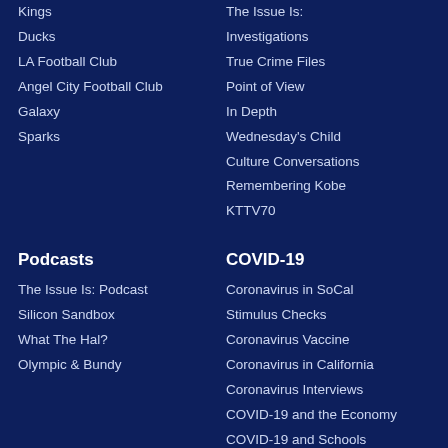Kings
Ducks
LA Football Club
Angel City Football Club
Galaxy
Sparks
The Issue Is:
Investigations
True Crime Files
Point of View
In Depth
Wednesday's Child
Culture Conversations
Remembering Kobe
KTTV70
Podcasts
The Issue Is: Podcast
Silicon Sandbox
What The Hal?
Olympic & Bundy
COVID-19
Coronavirus in SoCal
Stimulus Checks
Coronavirus Vaccine
Coronavirus in California
Coronavirus Interviews
COVID-19 and the Economy
COVID-19 and Schools